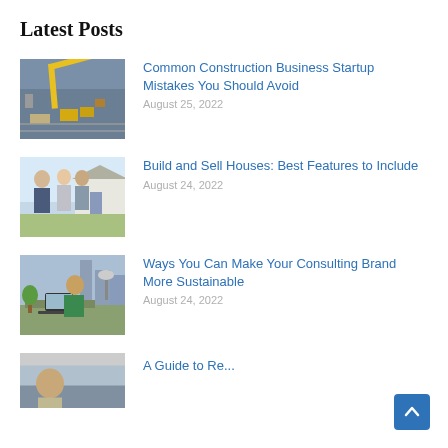Latest Posts
[Figure (photo): Aerial view of construction site with cranes and yellow equipment]
Common Construction Business Startup Mistakes You Should Avoid
August 25, 2022
[Figure (photo): Three people (two men and a woman) talking outside a house]
Build and Sell Houses: Best Features to Include
August 24, 2022
[Figure (photo): Woman working on laptop in an office with city view]
Ways You Can Make Your Consulting Brand More Sustainable
August 24, 2022
[Figure (photo): Partially visible thumbnail for a fourth post]